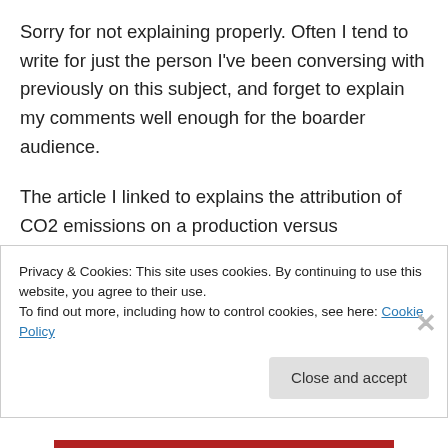Sorry for not explaining properly. Often I tend to write for just the person I've been conversing with previously on this subject, and forget to explain my comments well enough for the boarder audience.

The article I linked to explains the attribution of CO2 emissions on a production versus consumptions basis better than I can: http://www.ipa.org.au/news/2364/we-emit-less-co2-than-combet-gives-us-credit-for
Privacy & Cookies: This site uses cookies. By continuing to use this website, you agree to their use.
To find out more, including how to control cookies, see here: Cookie Policy